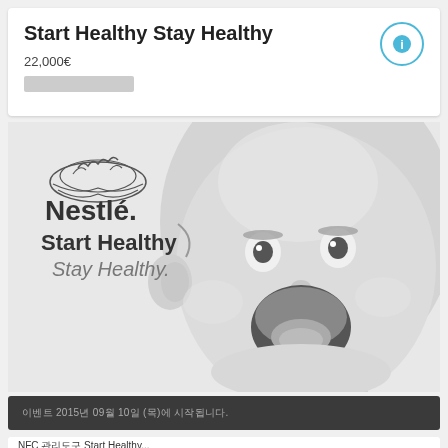Start Healthy Stay Healthy
22,000€
[Figure (logo): Nestlé Start Healthy Stay Healthy logo with bird nest emblem]
[Figure (photo): Black and white photo of a laughing baby with wide open mouth]
이벤트 2015년 09월 10일 (목)에 시작됩니다.
NFC 관리도구 Start Healthy...